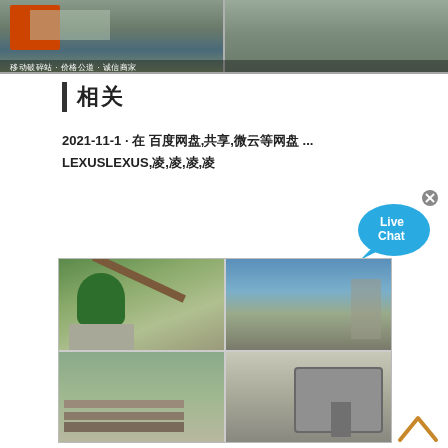[Figure (photo): Top strip with two industrial/mining facility photos side by side with caption overlay]
相关
2021-11-1 · 在 百度网盘,共享,微云等网盘 ... LEXUSLEXUS,凌,凌,凌,凌
[Figure (photo): Live Chat speech bubble widget with blue chat bubble and X close button]
[Figure (photo): Grid of four industrial/mining facility photos: cone crusher, open quarry, conveyor/lumber yard, mobile crusher machine]